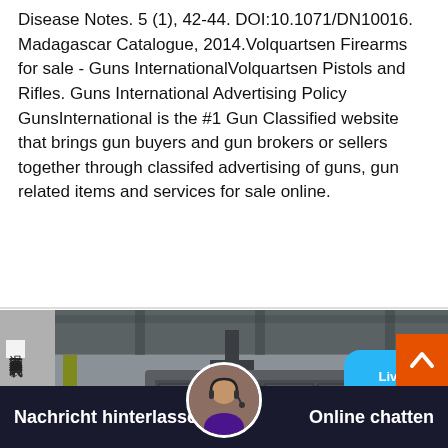Disease Notes. 5 (1), 42-44. DOI:10.1071/DN10016. Madagascar Catalogue, 2014.Volquartsen Firearms for sale - Guns InternationalVolquartsen Pistols and Rifles. Guns International Advertising Policy GunsInternational is the #1 Gun Classified website that brings gun buyers and gun brokers or sellers together through classifed advertising of guns, gun related items and services for sale online.
[Figure (photo): Industrial machine (appears to be a large crushing or screening machine) inside a factory/warehouse. Chinese text visible on the left side reading vertical characters. Dark grey/steel colored equipment with grid-like structure.]
Nachricht hinterlassen
Online chatten